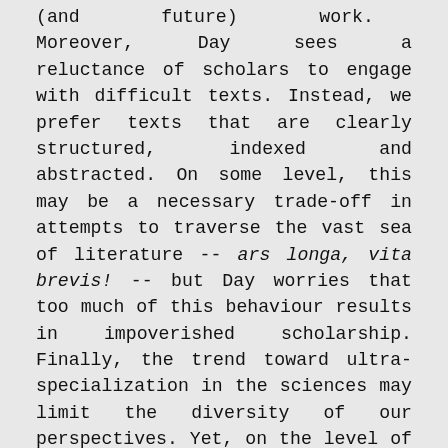(and future) work. Moreover, Day sees a reluctance of scholars to engage with difficult texts. Instead, we prefer texts that are clearly structured, indexed and abstracted. On some level, this may be a necessary trade-off in attempts to traverse the vast sea of literature -- ars longa, vita brevis! -- but Day worries that too much of this behaviour results in impoverished scholarship. Finally, the trend toward ultra-specialization in the sciences may limit the diversity of our perspectives. Yet, on the level of lived experience, we always already know the value of incorporating diverse perspectives: We do so regularly in our literature reviews and triangulatory methods. And in writing up our results, we know that, for example, "it is helpful when a text about X is accompanied by a diagram, and it is even more helpful if different